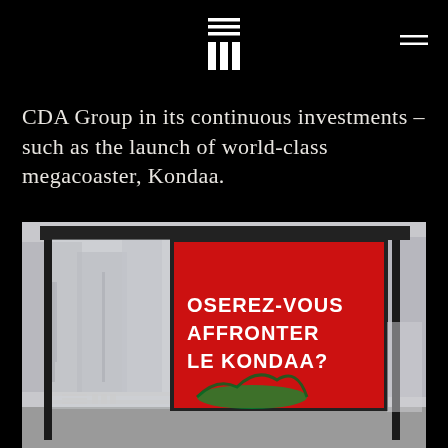CDA Group logo and navigation
CDA Group in its continuous investments – such as the launch of world-class megacoaster, Kondaa.
[Figure (photo): Bus shelter advertisement showing a red poster with bold white text reading 'OSEREZ-VOUS AFFRONTER LE KONDAA?' against an urban street background with blurred buildings and bare trees.]